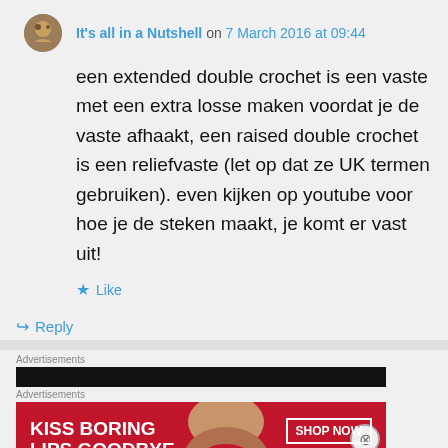It's all in a Nutshell on 7 March 2016 at 09:44
een extended double crochet is een vaste met een extra losse maken voordat je de vaste afhaakt, een raised double crochet is een reliefvaste (let op dat ze UK termen gebruiken). even kijken op youtube voor hoe je de steken maakt, je komt er vast uit!
Like
Reply
Advertisements
Advertisements
[Figure (photo): Advertisement banner: dark bar and Macy's lipstick ad reading 'KISS BORING LIPS GOODBYE' with SHOP NOW button and Macy's logo]